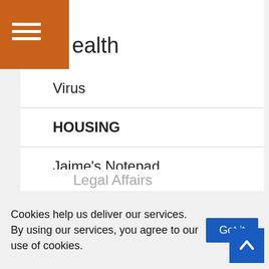ealth
Virus
HOUSING
Jaime's Notepad
Jeff's Thoughts
Kara's Casual Cooking
LA Weekly
Leadership
Legal Affairs
Cookies help us deliver our services. By using our services, you agree to our use of cookies.
Got it